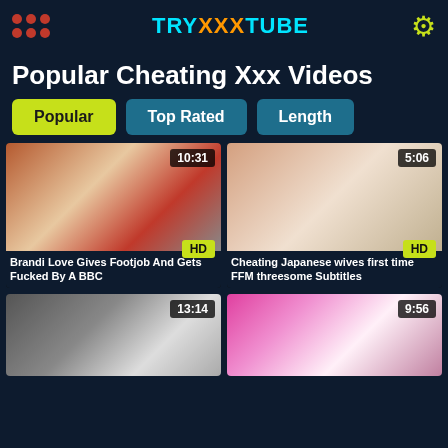TRYXXXTUBE
Popular Cheating Xxx Videos
Popular
Top Rated
Length
[Figure (screenshot): Video thumbnail 1 with time badge 10:31 and HD badge. Title: Brandi Love Gives Footjob And Gets Fucked By A BBC]
[Figure (screenshot): Video thumbnail 2 with time badge 5:06 and HD badge. Title: Cheating Japanese wives first time FFM threesome Subtitles]
[Figure (screenshot): Video thumbnail 3 with time badge 13:14. Partial view.]
[Figure (screenshot): Video thumbnail 4 with time badge 9:56. Partial view.]